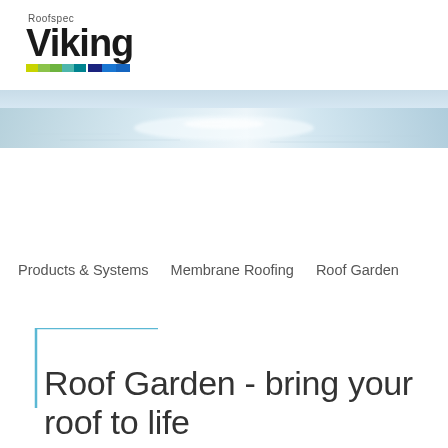[Figure (logo): Viking Roofspec logo with colorful bar beneath]
[Figure (photo): Wide panoramic hero image of a reflective water surface with light sheen]
Products & Systems   Membrane Roofing   Roof Garden
Roof Garden - bring your roof to life